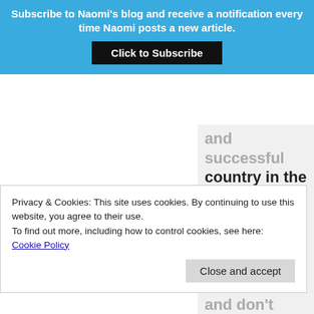Subscribe to Naomi's blog and receive a notification every time Naomi posts a new article.
Click to Subscribe
and successful country in the World? Just leave!! You have some of the most ignorant statements here that I have ever heard. Naomi and others here are well
Privacy & Cookies: This site uses cookies. By continuing to use this website, you agree to their use.
To find out more, including how to control cookies, see here: Cookie Policy
Close and accept
and don't vote in